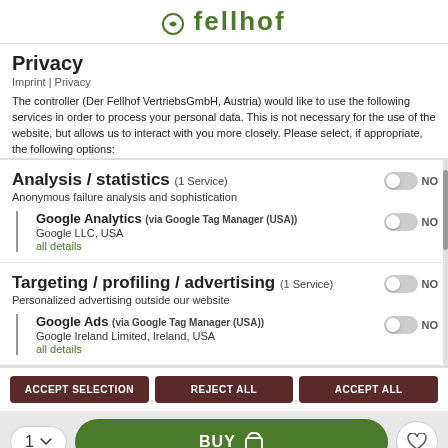fellhof
Privacy
Imprint | Privacy
The controller (Der Fellhof VertriebsGmbH, Austria) would like to use the following services in order to process your personal data. This is not necessary for the use of the website, but allows us to interact with you more closely. Please select, if appropriate, the following options:
Analysis / statistics (1 Service)
Anonymous failure analysis and sophistication
Google Analytics (via Google Tag Manager (USA))
Google LLC, USA
all details
Targeting / profiling / advertising (1 Service)
Personalized advertising outside our website
Google Ads (via Google Tag Manager (USA))
Google Ireland Limited, Ireland, USA
all details
ACCEPT SELECTION | REJECT ALL | ACCEPT ALL
1  BUY